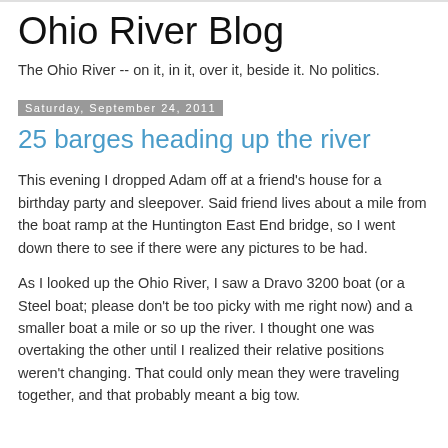Ohio River Blog
The Ohio River -- on it, in it, over it, beside it. No politics.
Saturday, September 24, 2011
25 barges heading up the river
This evening I dropped Adam off at a friend's house for a birthday party and sleepover. Said friend lives about a mile from the boat ramp at the Huntington East End bridge, so I went down there to see if there were any pictures to be had.
As I looked up the Ohio River, I saw a Dravo 3200 boat (or a Steel boat; please don't be too picky with me right now) and a smaller boat a mile or so up the river. I thought one was overtaking the other until I realized their relative positions weren't changing. That could only mean they were traveling together, and that probably meant a big tow.